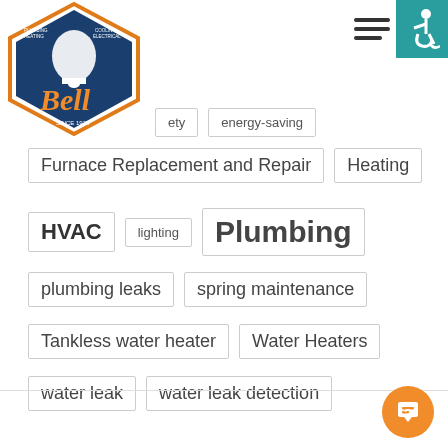[Figure (logo): Bell Plumbing Heating Cooling Electrical logo - hexagonal badge with bell and cursive Bell text, since 1926]
ety
energy-saving
Furnace Replacement and Repair
Heating
HVAC
lighting
Plumbing
plumbing leaks
spring maintenance
Tankless water heater
Water Heaters
water leak
water leak detection